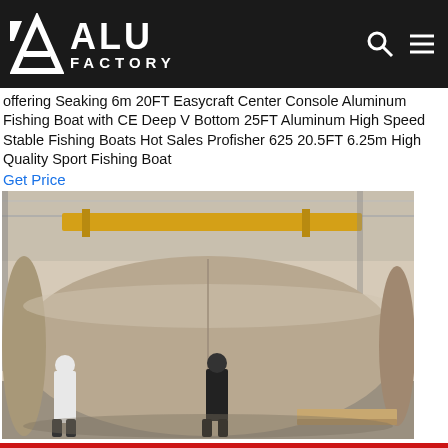ALU FACTORY
offering Seaking 6m 20FT Easycraft Center Console Aluminum Fishing Boat with CE Deep V Bottom 25FT Aluminum High Speed Stable Fishing Boats Hot Sales Profisher 625 20.5FT 6.25m High Quality Sport Fishing Boat
Get Price
[Figure (photo): Large cylindrical aluminum roll or vessel on factory floor, two workers standing beside it in an industrial warehouse with yellow crane overhead.]
Home  Skype  E-Mail  Inquiry